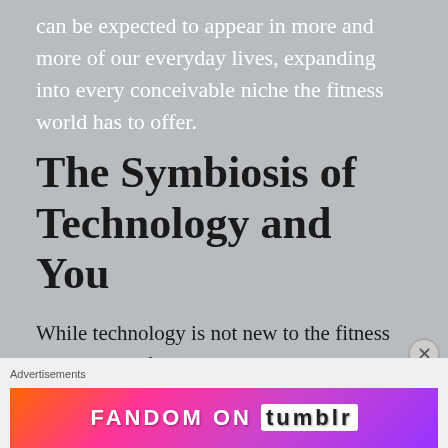can be expected to appear in more and more of our everyday lives, expanding into every conceivable niche the fitness world has to offer.
The Symbiosis of Technology and You
While technology is not new to the fitness industry, the fact that it now directly communicates and links to your body is. Most training apps seem basic in operation. Most offer sleek interfaces, ease of use, and reminders to keep you going. All essential quarantine saviors so
Advertisements
[Figure (illustration): FANDOM ON tumblr advertisement banner with colorful gradient background in orange, pink, and purple with decorative elements]